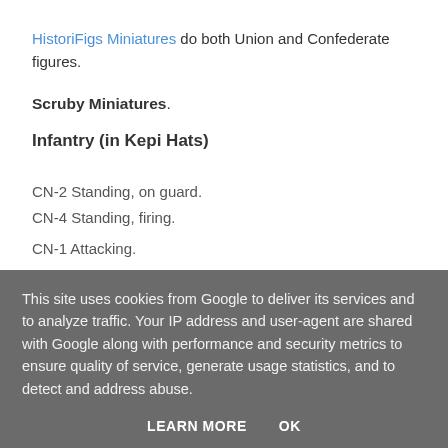HistoriFigs Miniatures do both Union and Confederate figures.
Scruby Miniatures.
Infantry (in Kepi Hats)
CN-2 Standing, on guard.
CN-4 Standing, firing.
CN-1 Attacking.
This site uses cookies from Google to deliver its services and to analyze traffic. Your IP address and user-agent are shared with Google along with performance and security metrics to ensure quality of service, generate usage statistics, and to detect and address abuse.
LEARN MORE  OK